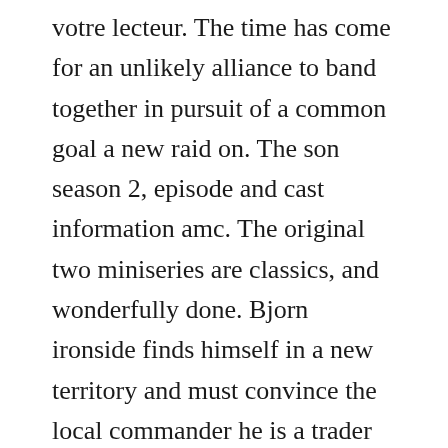votre lecteur. The time has come for an unlikely alliance to band together in pursuit of a common goal a new raid on. The son season 2, episode and cast information amc. The original two miniseries are classics, and wonderfully done. Bjorn ironside finds himself in a new territory and must convince the local commander he is a trader and not a raider. Won two 2018 daytime emmy awards, including outstanding childrens or family viewing series. Discovering that abu ahmed will attend his brothers wedding, doron joins his old team for a.